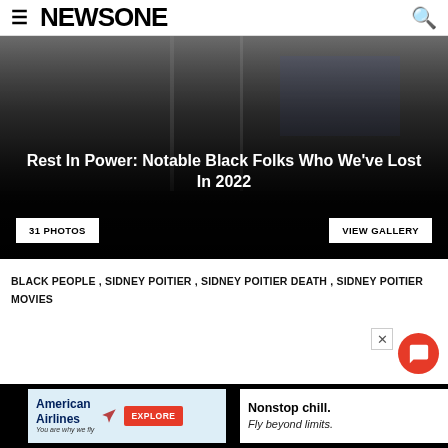≡ NEWSONE 🔍
[Figure (photo): Gallery image of a Black woman with short grey/white natural hair, looking upward, overlaid with dark gradient. Title reads 'Rest In Power: Notable Black Folks Who We've Lost In 2022'. Buttons: '31 PHOTOS' and 'VIEW GALLERY'.]
BLACK PEOPLE , SIDNEY POITIER , SIDNEY POITIER DEATH , SIDNEY POITIER MOVIES
[Figure (screenshot): American Airlines advertisement: logo with 'American Airlines You are why we fly', EXPLORE button, tagline 'Nonstop chill. Fly beyond limits.']